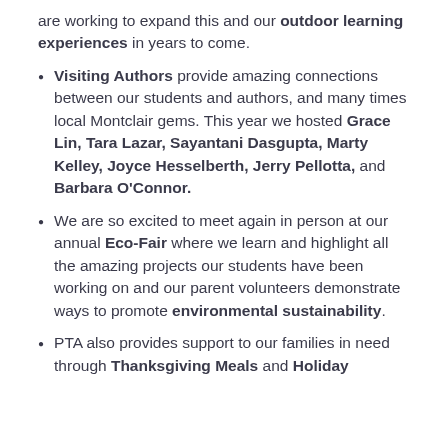are working to expand this and our outdoor learning experiences in years to come.
Visiting Authors provide amazing connections between our students and authors, and many times local Montclair gems. This year we hosted Grace Lin, Tara Lazar, Sayantani Dasgupta, Marty Kelley, Joyce Hesselberth, Jerry Pellotta, and Barbara O'Connor.
We are so excited to meet again in person at our annual Eco-Fair where we learn and highlight all the amazing projects our students have been working on and our parent volunteers demonstrate ways to promote environmental sustainability.
PTA also provides support to our families in need through Thanksgiving Meals and Holiday